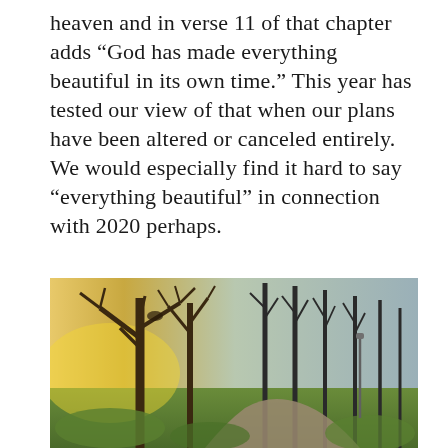heaven and in verse 11 of that chapter adds “God has made everything beautiful in its own time.” This year has tested our view of that when our plans have been altered or canceled entirely. We would especially find it hard to say “everything beautiful” in connection with 2020 perhaps.
[Figure (photo): Outdoor nature photo showing bare winter trees with golden sunset light filtering through on the left side and tall thin trees on the right side, with a winding path/road and green grass in the foreground.]